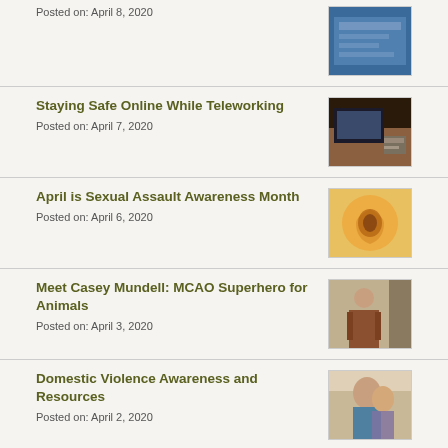Posted on: April 8, 2020
Staying Safe Online While Teleworking
Posted on: April 7, 2020
April is Sexual Assault Awareness Month
Posted on: April 6, 2020
Meet Casey Mundell: MCAO Superhero for Animals
Posted on: April 3, 2020
Domestic Violence Awareness and Resources
Posted on: April 2, 2020
COVID-19 Scam Awareness
Posted on: March 30, 2020